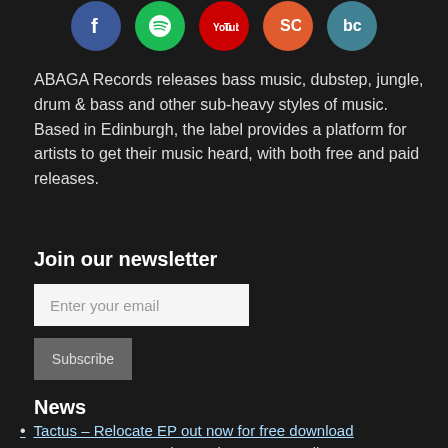[Figure (illustration): Five social media icon circles: Facebook (blue), Spotify (green), YouTube (red with logo), SoundCloud (orange-red), Bandcamp (teal)]
ABAGA Records releases bass music, dubstep, jungle, drum & bass and other sub-heavy styles of music. Based in Edinburgh, the label provides a platform for artists to get their music heard, with both free and paid releases.
Join our newsletter
Enter your email
Subscribe
News
Tactus – Relocate EP out now for free download
Tactus – 300 Seconds To Mix on BBC Radio 1